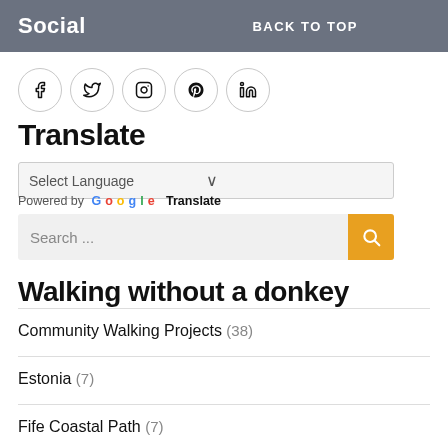Social   BACK TO TOP
[Figure (illustration): Social media icon circles: Facebook, Twitter, Instagram, Pinterest, LinkedIn]
Translate
Select Language (dropdown)
Powered by Google Translate
Search ...
Walking without a donkey
Community Walking Projects (38)
Estonia (7)
Fife Coastal Path (7)